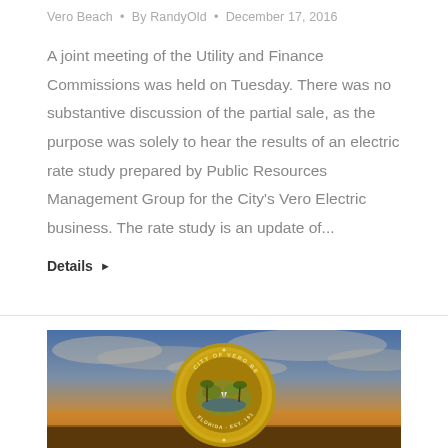Vero Beach • By RandyOld • December 17, 2016
A joint meeting of the Utility and Finance Commissions was held on Tuesday. There was no substantive discussion of the partial sale, as the purpose was solely to hear the results of an electric rate study prepared by Public Resources Management Group for the City's Vero Electric business. The rate study is an update of...
Details ▶
[Figure (photo): City of Vero Beach official seal medallion overlaid on a sunset sky background with dramatic clouds in orange and blue tones.]